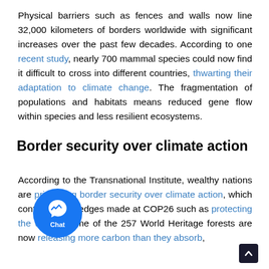Physical barriers such as fences and walls now line 32,000 kilometers of borders worldwide with significant increases over the past few decades. According to one recent study, nearly 700 mammal species could now find it difficult to cross into different countries, thwarting their adaptation to climate change. The fragmentation of populations and habitats means reduced gene flow within species and less resilient ecosystems.
Border security over climate action
According to the Transnational Institute, wealthy nations are prioritizing border security over climate action, which contravenes pledges made at COP26 such as protecting the world's forests. Some of the 257 World Heritage forests are now releasing more carbon than they absorb,